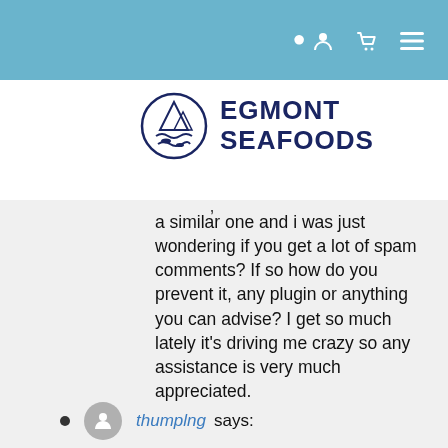Navigation bar with user, cart, and menu icons
[Figure (logo): Egmont Seafoods logo: circular emblem with fish and waves, beside bold navy text EGMONT SEAFOODS]
a similar one and i was just wondering if you get a lot of spam comments? If so how do you prevent it, any plugin or anything you can advise? I get so much lately it’s driving me crazy so any assistance is very much appreciated.
thumplng says: